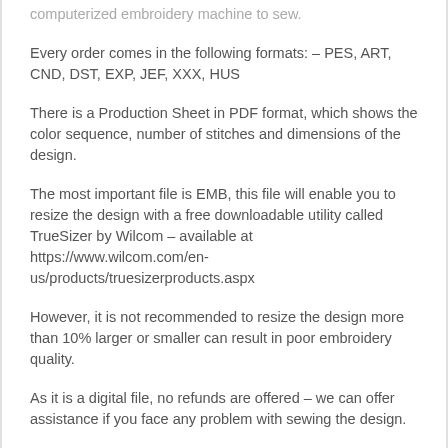computerized embroidery machine to sew.
Every order comes in the following formats: – PES, ART, CND, DST, EXP, JEF, XXX, HUS
There is a Production Sheet in PDF format, which shows the color sequence, number of stitches and dimensions of the design.
The most important file is EMB, this file will enable you to resize the design with a free downloadable utility called TrueSizer by Wilcom – available at https://www.wilcom.com/en-us/products/truesizerproducts.aspx
However, it is not recommended to resize the design more than 10% larger or smaller can result in poor embroidery quality.
As it is a digital file, no refunds are offered – we can offer assistance if you face any problem with sewing the design.
All embroidery design files purchased from us cannot be resold or freely given away, either as is or after editing or